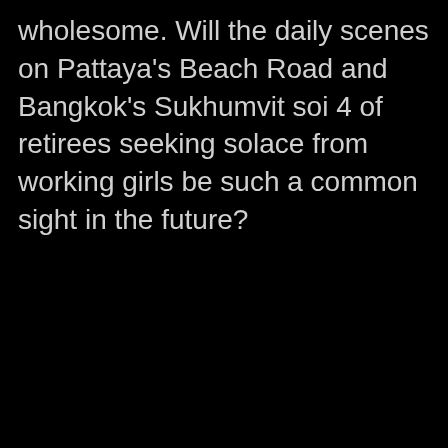wholesome. Will the daily scenes on Pattaya's Beach Road and Bangkok's Sukhumvit soi 4 of retirees seeking solace from working girls be such a common sight in the future?